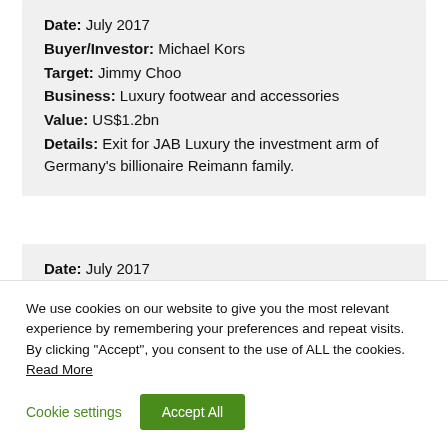Date: July 2017
Buyer/Investor: Michael Kors
Target: Jimmy Choo
Business: Luxury footwear and accessories
Value: US$1.2bn
Details: Exit for JAB Luxury the investment arm of Germany's billionaire Reimann family.
Date: July 2017
Buyer/Investor: IPO
We use cookies on our website to give you the most relevant experience by remembering your preferences and repeat visits. By clicking "Accept", you consent to the use of ALL the cookies. Read More